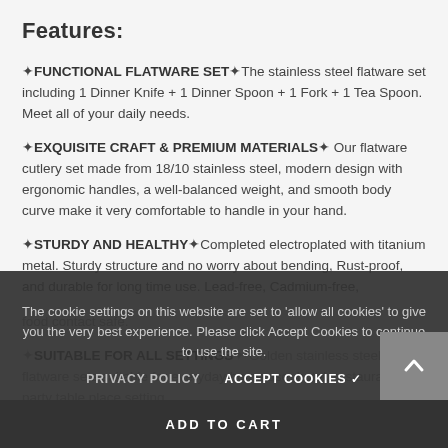Features:
🔶FUNCTIONAL FLATWARE SET🔷The stainless steel flatware set including 1 Dinner Knife + 1 Dinner Spoon + 1 Fork + 1 Tea Spoon. Meet all of your daily needs.
🔶EXQUISITE CRAFT & PREMIUM MATERIALS🔷 Our flatware cutlery set made from 18/10 stainless steel, modern design with ergonomic handles, a well-balanced weight, and smooth body curve make it very comfortable to handle in your hand.
🔶STURDY AND HEALTHY🔷Completed electroplated with titanium metal. Sturdy structure and no worry about bending, Rust-proof, and durable for long time use. Lead-free, Cadmium-free, food contact safe.
🔶SUITABLE FOR ALL SETTINGS🔷 Golden stainless steel flatware sets suitable for everyday home use, hotel, restaurant, party table place setting.
🔶100% SATISFACTION GUARANTEE🔷 We provide absolutely quality...
The cookie settings on this website are set to 'allow all cookies' to give you the very best experience. Please click Accept Cookies to continue to use the site.
PRIVACY POLICY   ACCEPT COOKIES ✓
ADD TO CART